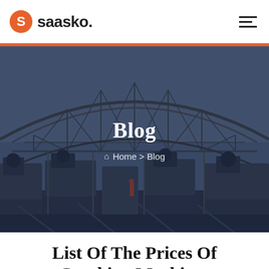saasko.
[Figure (photo): Industrial machinery facility with large steel truss roof structure and heavy crushing/processing equipment in the foreground, shown with a dark blue overlay. Text overlay reads 'Blog' with breadcrumb 'Home > Blog'.]
List Of The Prices Of Crushing Machines